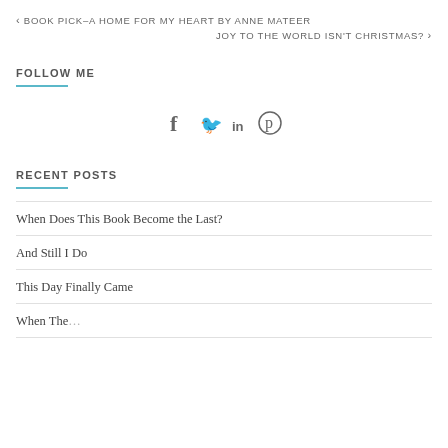◀ BOOK PICK–A HOME FOR MY HEART BY ANNE MATEER
JOY TO THE WORLD ISN'T CHRISTMAS? ▶
FOLLOW ME
[Figure (infographic): Social media icons: Facebook (f), Twitter (bird), LinkedIn (in), Pinterest (p)]
RECENT POSTS
When Does This Book Become the Last?
And Still I Do
This Day Finally Came
When The...